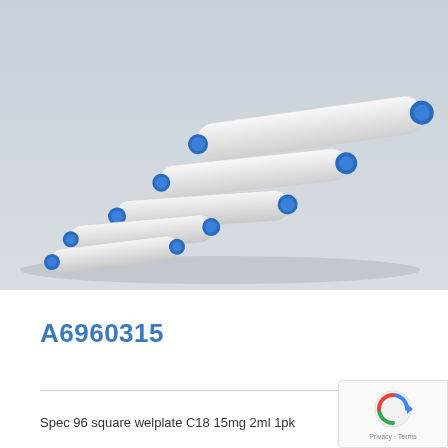[Figure (photo): Product photo of several white cylindrical SPE (solid phase extraction) cartridges with blue end caps, arranged in a scattered group on a light grey surface.]
A6960315
Spec 96 square welplate C18 15mg 2ml 1pk